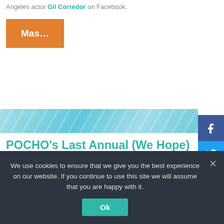Angeles actor Gil Corredor on Facebook.
Mas...
[Figure (screenshot): Blue teal decorative banner strip across the page]
POCHO's Last Annual (We Hope) #OscarsSoWhite Toon-A-Thon
February 28, 2016 by COMIC SAENZ
We use cookies to ensure that we give you the best experience on our website. If you continue to use this site we will assume that you are happy with it.